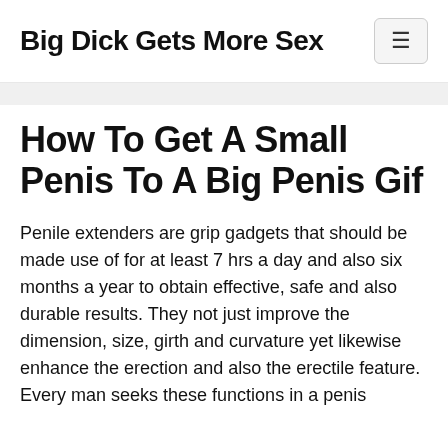Big Dick Gets More Sex
How To Get A Small Penis To A Big Penis Gif
Penile extenders are grip gadgets that should be made use of for at least 7 hrs a day and also six months a year to obtain effective, safe and also durable results. They not just improve the dimension, size, girth and curvature yet likewise enhance the erection and also the erectile feature. Every man seeks these functions in a penis